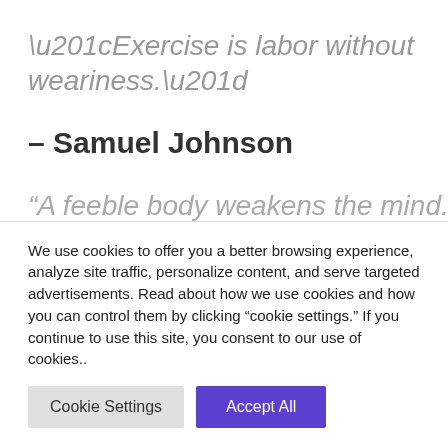“Exercise is labor without weariness.”
– Samuel Johnson
“A feeble body weakens the mind.”
We use cookies to offer you a better browsing experience, analyze site traffic, personalize content, and serve targeted advertisements. Read about how we use cookies and how you can control them by clicking “cookie settings.” If you continue to use this site, you consent to our use of cookies..
Cookie Settings
Accept All